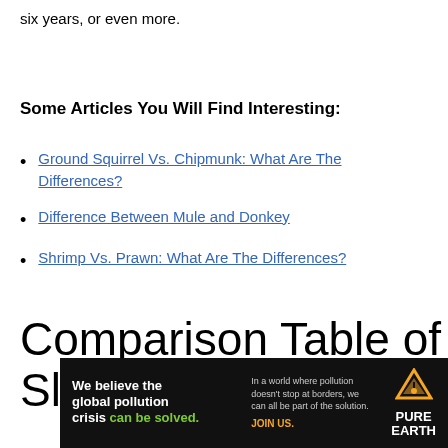six years, or even more.
Some Articles You Will Find Interesting:
Ground Squirrel Vs. Chipmunk: What Are The Differences?
Difference Between Mule and Donkey
Shrimp Vs. Prawn: What Are The Differences?
Comparison Table of Slug and Snail
[Figure (other): Advertisement banner for Pure Earth organization with text 'We believe the global pollution crisis can be solved.' and tagline about pollution not stopping at borders.]